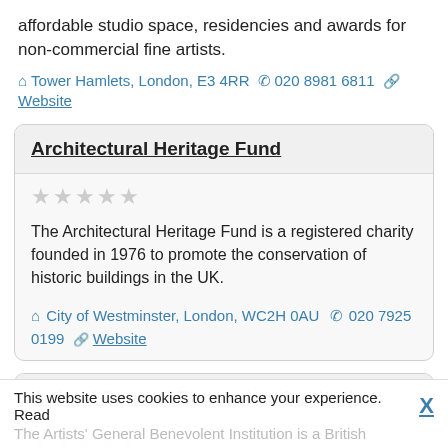affordable studio space, residencies and awards for non-commercial fine artists.
Tower Hamlets, London, E3 4RR  020 8981 6811  Website
Architectural Heritage Fund
The Architectural Heritage Fund is a registered charity founded in 1976 to promote the conservation of historic buildings in the UK.
City of Westminster, London, WC2H 0AU  020 7925 0199  Website
Artists' General Benevolent Institution
This website uses cookies to enhance your experience. Read The Artists' General Benevolent Institution is a British...